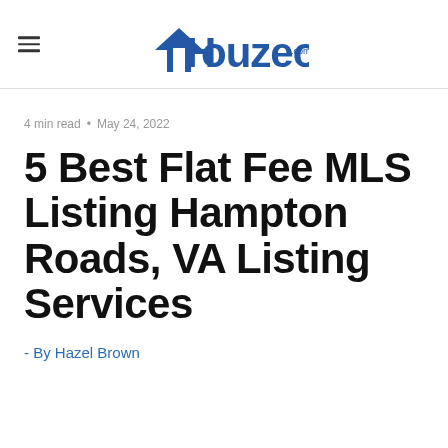Houzeo.com
4 min read • May 24, 2022
5 Best Flat Fee MLS Listing Hampton Roads, VA Listing Services
- By Hazel Brown